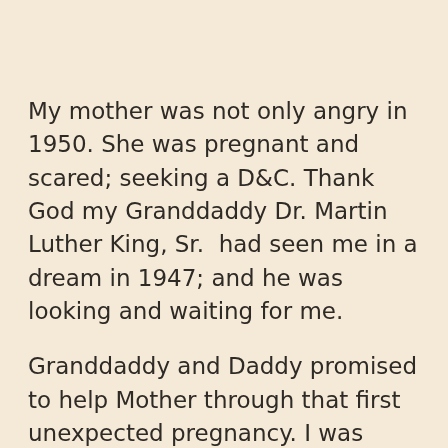My mother was not only angry in 1950. She was pregnant and scared; seeking a D&C. Thank God my Granddaddy Dr. Martin Luther King, Sr.  had seen me in a dream in 1947; and he was looking and waiting for me.
Granddaddy and Daddy promised to help Mother through that first unexpected pregnancy. I was born to A. D. and Naomi Ruth Barber King on January 22, 1951.
Over the years, Mother recovered from her